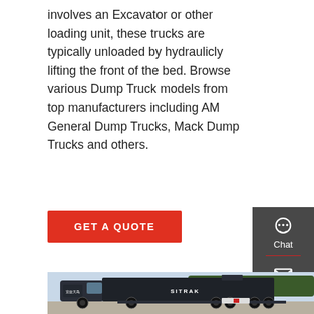involves an Excavator or other loading unit, these trucks are typically unloaded by hydraulicly lifting the front of the bed. Browse various Dump Truck models from top manufacturers including AM General Dump Trucks, Mack Dump Trucks and others.
[Figure (other): Red 'GET A QUOTE' button on white background]
[Figure (other): Dark sidebar panel with Chat (headset icon), Email (envelope icon), and Contact (speech bubble icon) options on grey background with red dividers]
[Figure (photo): A large dark blue/black SITRAK dump truck (semi-truck with large enclosed rectangular bed) parked on a concrete surface with trees in the background. Chinese characters visible on the truck cab door.]